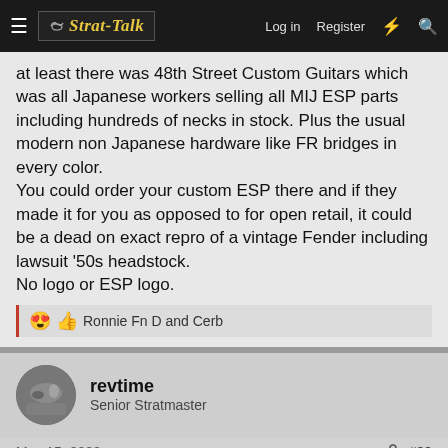Strat-Talk | Log in | Register
at least there was 48th Street Custom Guitars which was all Japanese workers selling all MIJ ESP parts including hundreds of necks in stock. Plus the usual modern non Japanese hardware like FR bridges in every color.
You could order your custom ESP there and if they made it for you as opposed to for open retail, it could be a dead on exact repro of a vintage Fender including lawsuit '50s headstock.
No logo or ESP logo.
😍👍 Ronnie Fn D and Cerb
revtime
Senior Stratmaster
May 15, 2022    #39
Warmoth. Exactly my specs, built, bolted, screwed